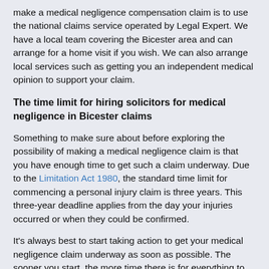make a medical negligence compensation claim is to use the national claims service operated by Legal Expert. We have a local team covering the Bicester area and can arrange for a home visit if you wish. We can also arrange local services such as getting you an independent medical opinion to support your claim.
The time limit for hiring solicitors for medical negligence in Bicester claims
Something to make sure about before exploring the possibility of making a medical negligence claim is that you have enough time to get such a claim underway. Due to the Limitation Act 1980, the standard time limit for commencing a personal injury claim is three years. This three-year deadline applies from the day your injuries occurred or when they could be confirmed.
It's always best to start taking action to get your medical negligence claim underway as soon as possible. The sooner you start, the more time there is for everything to get sorted so that your claim can be processed. There can be exceptions to how the time limit works, but only in a small number of circumstances. If a victim of medical negligence is below the age of 18 or lacks the mental capacity to act independently, then the time limit for